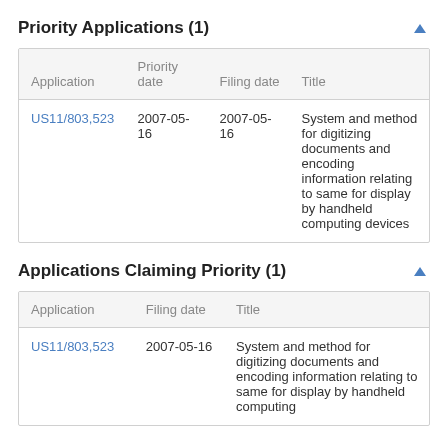Priority Applications (1)
| Application | Priority date | Filing date | Title |
| --- | --- | --- | --- |
| US11/803,523 | 2007-05-16 | 2007-05-16 | System and method for digitizing documents and encoding information relating to same for display by handheld computing devices |
Applications Claiming Priority (1)
| Application | Filing date | Title |
| --- | --- | --- |
| US11/803,523 | 2007-05-16 | System and method for digitizing documents and encoding information relating to same for display by handheld computing |